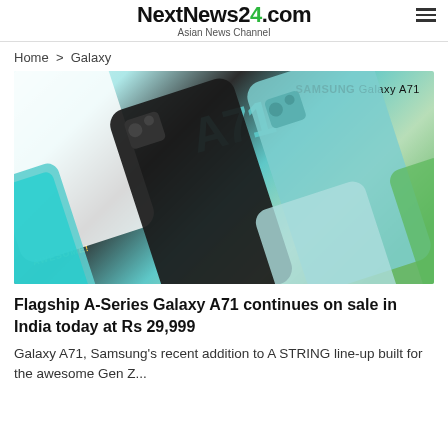NextNews24.com — Asian News Channel
Home > Galaxy
[Figure (photo): Samsung Galaxy A71 promotional image showing multiple phones in different colors (white, black, teal/mint) arranged diagonally with 'A71' text and 'AWESOME!' label visible, with SAMSUNG Galaxy A71 branding in upper right.]
Flagship A-Series Galaxy A71 continues on sale in India today at Rs 29,999
Galaxy A71, Samsung's recent addition to A STRING line-up built for the awesome Gen Z...